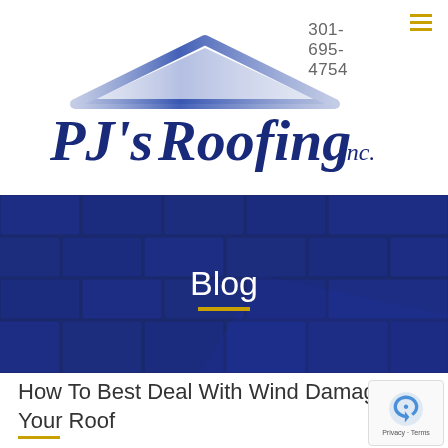301-695-4754
[Figure (logo): PJ's Roofing inc. logo with a dark blue house roof silhouette above the company name in large serif italic font]
[Figure (photo): Dark navy blue roof shingles texture used as a banner background with the word Blog centered in white text and a gold underline]
How To Best Deal With Wind Damage To Your Roof